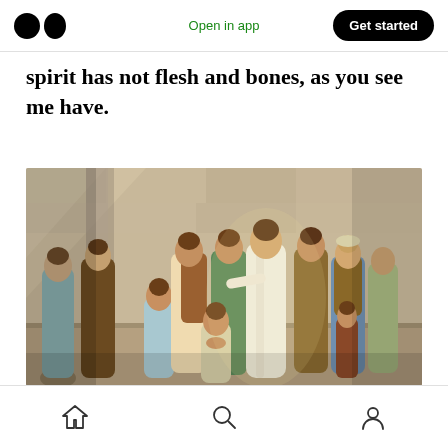Open in app | Get started
spirit has not flesh and bones, as you see me have.
[Figure (illustration): A religious painting-style illustration showing Jesus Christ in white robes surrounded by his disciples in an ancient stone room. One disciple kneels before him while others stand around in reverence and conversation.]
Home | Search | Profile